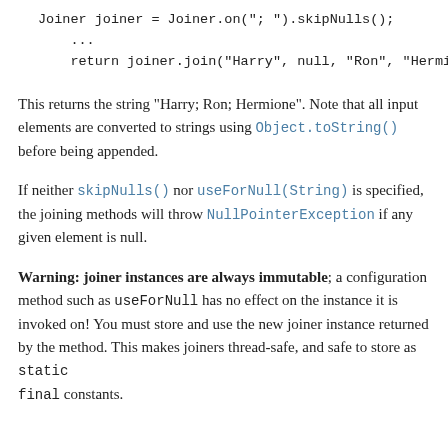Joiner joiner = Joiner.on("; ").skipNulls();
    ...
    return joiner.join("Harry", null, "Ron", "Hermio
This returns the string "Harry; Ron; Hermione". Note that all input elements are converted to strings using Object.toString() before being appended.
If neither skipNulls() nor useForNull(String) is specified, the joining methods will throw NullPointerException if any given element is null.
Warning: joiner instances are always immutable; a configuration method such as useForNull has no effect on the instance it is invoked on! You must store and use the new joiner instance returned by the method. This makes joiners thread-safe, and safe to store as static final constants.
// Bad! Do not do this!
Joiner joiner = Joiner.on(',');